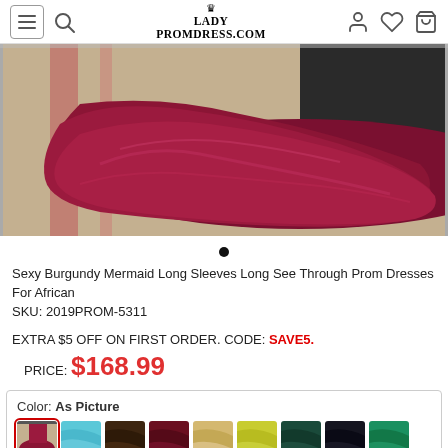LADYPROMDRESS.COM
[Figure (photo): Bottom portion of a burgundy/dark red mermaid prom dress with a long train draped on a sidewalk/street surface]
Sexy Burgundy Mermaid Long Sleeves Long See Through Prom Dresses For African
SKU: 2019PROM-5311
EXTRA $5 OFF ON FIRST ORDER. CODE: SAVE5.
PRICE: $168.99
Color: As Picture